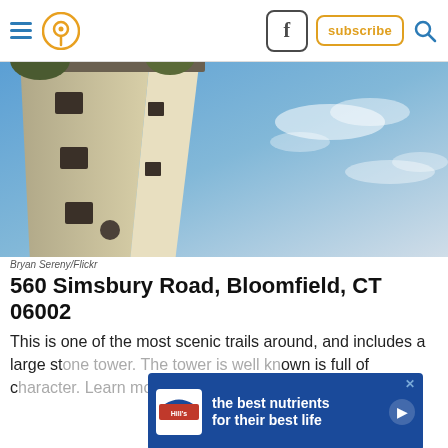Navigation header with hamburger menu, location pin icon, Facebook button, subscribe button, and search icon
[Figure (photo): Looking up at a tall concrete tower/lighthouse against a blue sky with clouds. The tower has several windows and is photographed from below at a dramatic angle.]
Bryan Sereny/Flickr
560 Simsbury Road, Bloomfield, CT 06002
This is one of the most scenic trails around, and includes a large st[one tower. The tower is well kn]own is full of c[haracter. Learn more a]bout this hike here.